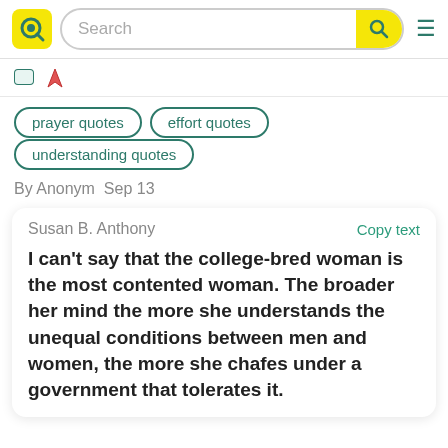Search
prayer quotes
effort quotes
understanding quotes
By Anonym  Sep 13
Susan B. Anthony
Copy text
I can't say that the college-bred woman is the most contented woman. The broader her mind the more she understands the unequal conditions between men and women, the more she chafes under a government that tolerates it.